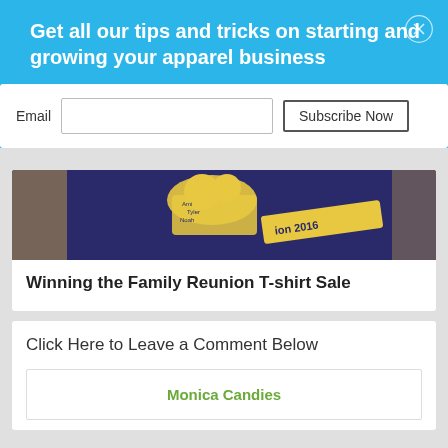Get all our tips and tricks on starting and growing your apparel business
Email
Subscribe Now
[Figure (photo): Photo of a dark blue fabric/t-shirt with yellow graphic design, reunion 2016 text visible]
Winning the Family Reunion T-shirt Sale
Click Here to Leave a Comment Below
Monica Candies